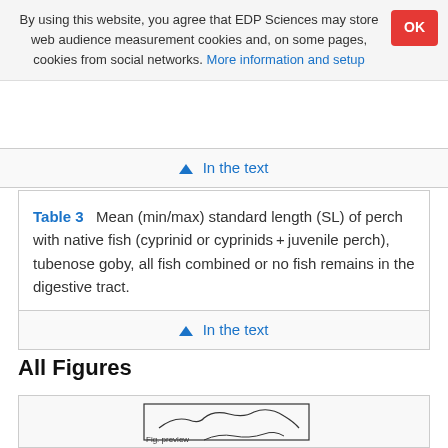By using this website, you agree that EDP Sciences may store web audience measurement cookies and, on some pages, cookies from social networks. More information and setup
Table 3  Mean (min/max) standard length (SL) of perch with native fish (cyprinid or cyprinids + juvenile perch), tubenose goby, all fish combined or no fish remains in the digestive tract.
↑ In the text
↑ In the text
All Figures
[Figure (map): Map figure preview showing outline of a coastline or lake region]